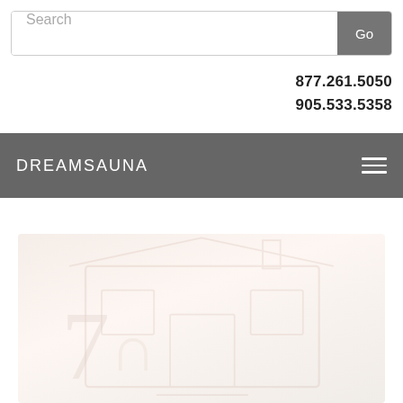[Figure (screenshot): Search bar with text input placeholder 'Search' and a grey 'Go' button on the right]
877.261.5050
905.533.5358
DREAMSAUNA
[Figure (photo): Faint background image of a sauna interior, very light pinkish-cream tones, barely visible watermark-style]